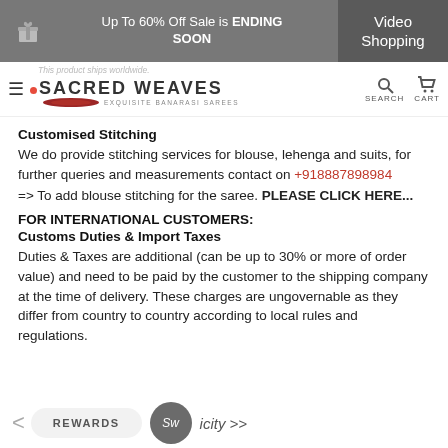Up To 60% Off Sale is ENDING SOON | Video Shopping
SACRED WEAVES EXQUISITE BANARASI SAREES | SEARCH | CART
Customised Stitching
We do provide stitching services for blouse, lehenga and suits, for further queries and measurements contact on +918887898984
=> To add blouse stitching for the saree. PLEASE CLICK HERE...
FOR INTERNATIONAL CUSTOMERS:
Customs Duties & Import Taxes
Duties & Taxes are additional (can be up to 30% or more of order value) and need to be paid by the customer to the shipping company at the time of delivery. These charges are ungovernable as they differ from country to country according to local rules and regulations.
< REWARDS Sw icity >>